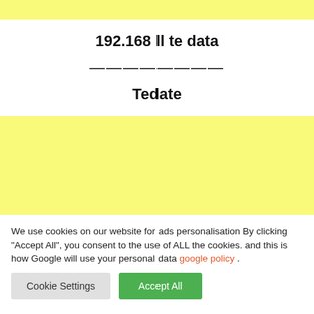192.168 ll te data
————————
Tedate
[Figure (other): Yellow advertisement placeholder block]
We use cookies on our website for ads personalisation By clicking “Accept All”, you consent to the use of ALL the cookies. and this is how Google will use your personal data google policy .
Cookie Settings
Accept All